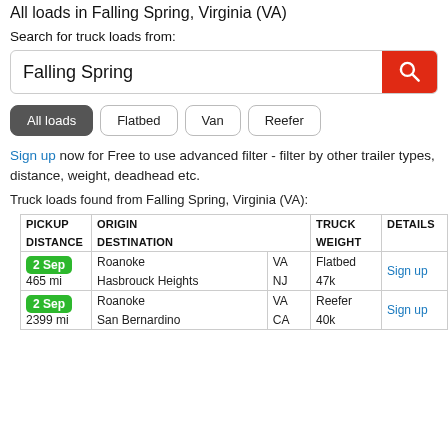All loads in Falling Spring, Virginia (VA)
Search for truck loads from:
Falling Spring
All loads  Flatbed  Van  Reefer
Sign up now for Free to use advanced filter - filter by other trailer types, distance, weight, deadhead etc.
Truck loads found from Falling Spring, Virginia (VA):
| PICKUP
DISTANCE | ORIGIN
DESTINATION |  | TRUCK
WEIGHT | DETAILS |
| --- | --- | --- | --- | --- |
| 2 Sep
465 mi | Roanoke
Hasbrouck Heights | VA
NJ | Flatbed
47k | Sign up |
| 2 Sep
2399 mi | Roanoke
San Bernardino | VA
CA | Reefer
40k | Sign up |